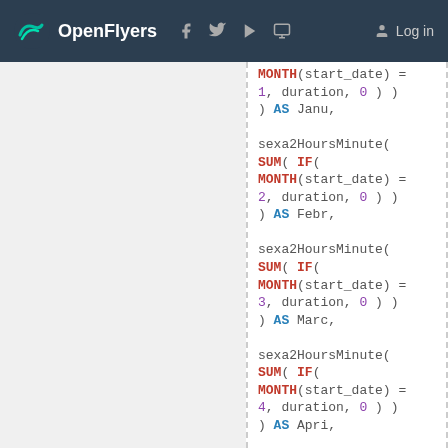OpenFlyers | Log in
MONTH(start_date) = 1, duration, 0 ) ) ) AS Janu,

sexa2HoursMinute( SUM( IF( MONTH(start_date) = 2, duration, 0 ) ) ) AS Febr,

sexa2HoursMinute( SUM( IF( MONTH(start_date) = 3, duration, 0 ) ) ) AS Marc,

sexa2HoursMinute( SUM( IF( MONTH(start_date) = 4, duration, 0 ) ) ) AS Apri,

sexa2HoursMinute( SUM( IF( MONTH(start_date) = 5, duration, 0 ) ) ) AS May,